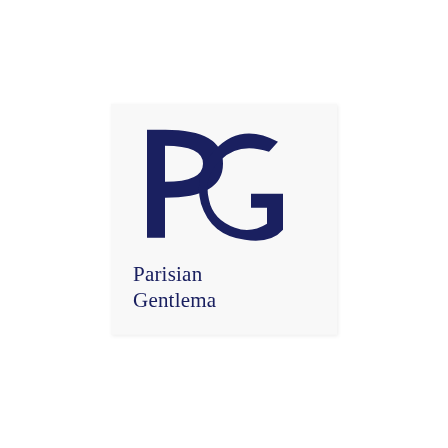[Figure (logo): Parisian Gentleman logo: large stylized interlocking 'P' and 'G' letters in dark navy blue, with the text 'Parisian Gentlema' below in serif font, all on a light grey/white card background.]